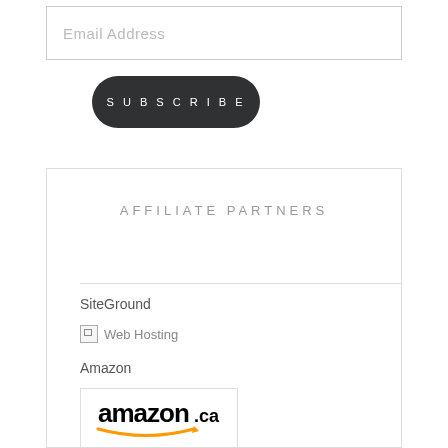Email Address
SUBSCRIBE
AFFILIATE PARTNERS
SiteGround
[Figure (illustration): Broken image placeholder with alt text 'Web Hosting']
Amazon
[Figure (logo): Amazon.ca logo with smile arrow underneath]